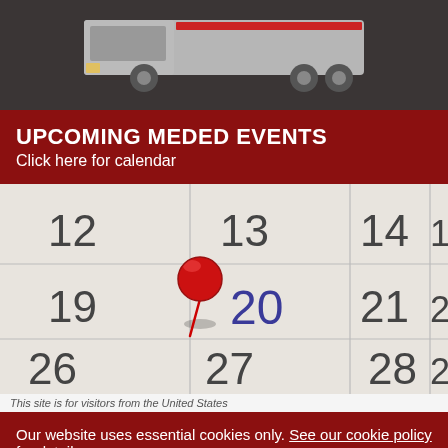[Figure (photo): Top section showing a truck/vehicle on dark gray background]
UPCOMING MEDED EVENTS
Click here for calendar
[Figure (photo): Close-up photo of a paper calendar showing dates 12-22 and 26-28, with a red thumbtack pinned on date 20]
This site is for visitors from the United States
Our website uses essential cookies only. See our cookie policy for details
CLOSE